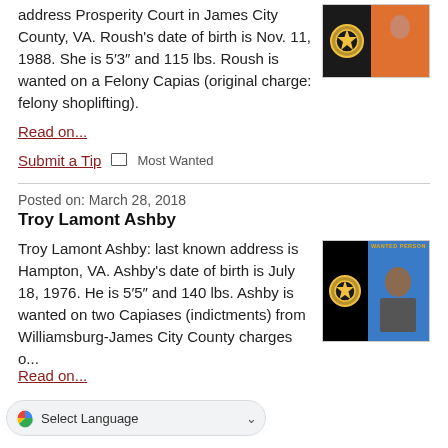address Prosperity Court in James City County, VA. Roush's date of birth is Nov. 11, 1988. She is 5'3" and 115 lbs. Roush is wanted on a Felony Capias (original charge: felony shoplifting).
[Figure (photo): Wanted person mugshot showing a badge icon on dark background and a woman in orange on the right side, blue background.]
Read on...
Submit a Tip  Most Wanted
Posted on: March 28, 2018
Troy Lamont Ashby
Troy Lamont Ashby: last known address is Hampton, VA. Ashby's date of birth is July 18, 1976. He is 5'5" and 140 lbs. Ashby is wanted on two Capiases (indictments) from Williamsburg-James City County charges o...
[Figure (photo): Wanted Person card showing badge on black background on left and a Black man's photo on blue background on the right, with 'WANTED PERSON' label in gold at top.]
Read on...